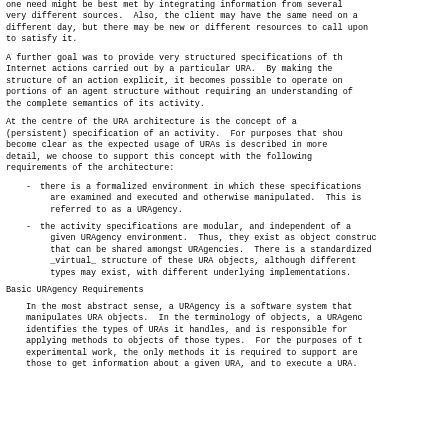one need might be best met by integrating information from several very different sources.  Also, the client may have the same need on a different day, but there may be new or different resources to call upon to satisfy it.
A further goal was to provide very structured specifications of the Internet actions carried out by a particular URA.  By making the structure of an action explicit, it becomes possible to operate on portions of an agent structure without requiring an understanding of the complete semantics of its activity.
At the centre of the URA architecture is the concept of a (persistent) specification of an activity.  For purposes that should become clear as the expected usage of URAs is described in more detail, we choose to support this concept with the following requirements of the architecture:
there is a formalized environment in which these specifications are examined and executed and otherwise manipulated.  This is referred to as a URAgency.
the activity specifications are modular, and independent of a given URAgency environment.  Thus, they exist as object constructs that can be shared amongst URAgencies.  There is a standardized _virtual_ structure of these URA objects, although different types may exist, with different underlying implementations.
Basic URAgency Requirements
In the most abstract sense, a URAgency is a software system that manipulates URA objects.  In the terminology of objects, a URAgency identifies the types of URAs it handles, and is responsible for applying methods to objects of those types.  For the purposes of the experimental work, the only methods it is required to support are those to get information about a given URA, and to execute a URA.